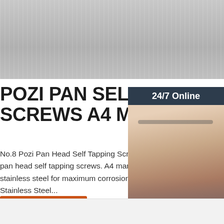[Figure (photo): Product photo of pozi pan self tapping screws on metallic brushed surface background]
POZI PAN SELF TAPPING SCREWS A4 MARINE GR
No.8 Pozi Pan Head Self Tapping Screws. P pan head self tapping screws. A4 marine gra stainless steel for maximum corrosion resista Stainless Steel...
[Figure (photo): 24/7 Online chat widget showing a woman with headset smiling. Includes 'Click here for free chat!' text and QUOTATION button.]
Get Price
[Figure (photo): Bottom portion of another product image, light gray background]